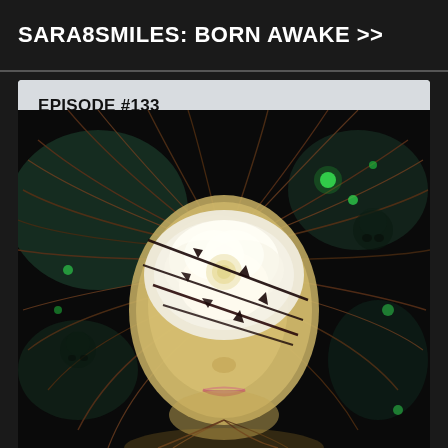SARA8SMILES: BORN AWAKE >>
EPISODE #133
AIRED: 02-15-2019
[Figure (illustration): Artistic illustration of a face with flowing brown hair, a white rose covering the eyes, dark barbed wire or thorns across the face, glowing green dots in a dark background, and a dreamlike surreal quality.]